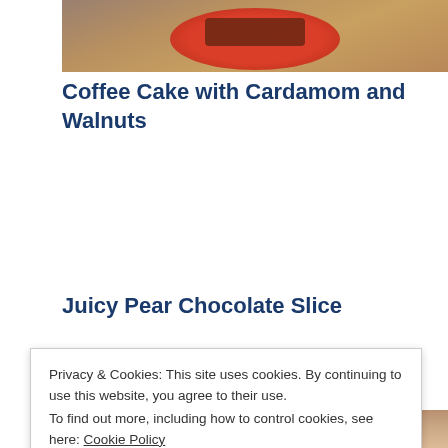[Figure (photo): Photo of a coffee cake with cardamom and walnuts on a red plate, partially visible at top of page]
Coffee Cake with Cardamom and Walnuts
Juicy Pear Chocolate Slice
Privacy & Cookies: This site uses cookies. By continuing to use this website, you agree to their use.
To find out more, including how to control cookies, see here: Cookie Policy
[Figure (photo): Photo partially visible at the bottom of the page, likely showing the Juicy Pear Chocolate Slice]